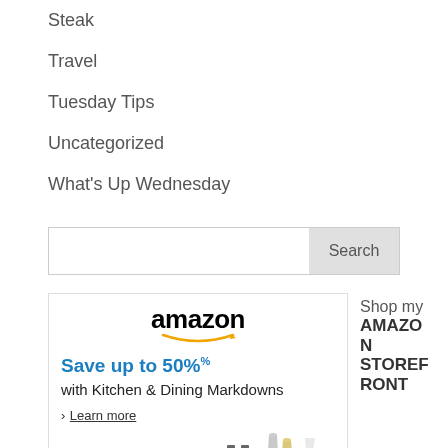Steak
Travel
Tuesday Tips
Uncategorized
What's Up Wednesday
[Figure (screenshot): Search bar with text input and Search button]
[Figure (screenshot): Amazon advertisement banner: Save up to 50% with Kitchen & Dining Markdowns. Learn more link. Images of kitchen/drink items. To the right: Shop my AMAZON STOREFRONT text.]